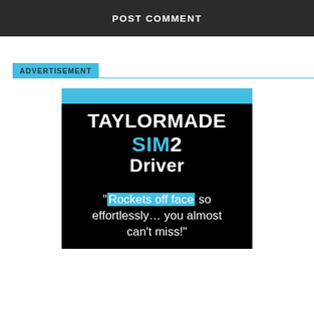POST COMMENT
ADVERTISEMENT
[Figure (illustration): TaylorMade SIM2 Driver advertisement banner with blue top strip, black background, white and cyan bold text reading 'TAYLORMADE SIM2 Driver', and a quote 'Rockets off face so effortlessly... you almost can't miss!' with 'Rockets off face' highlighted in cyan background.]